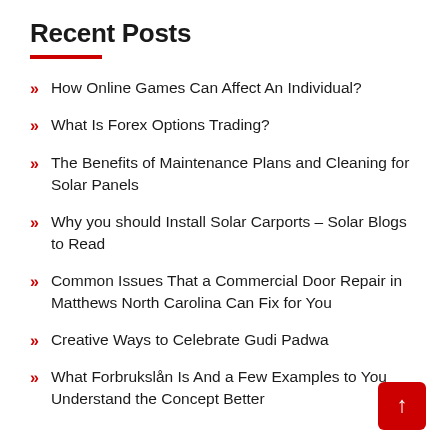Recent Posts
How Online Games Can Affect An Individual?
What Is Forex Options Trading?
The Benefits of Maintenance Plans and Cleaning for Solar Panels
Why you should Install Solar Carports – Solar Blogs to Read
Common Issues That a Commercial Door Repair in Matthews North Carolina Can Fix for You
Creative Ways to Celebrate Gudi Padwa
What Forbrukslån Is And a Few Examples to You Understand the Concept Better